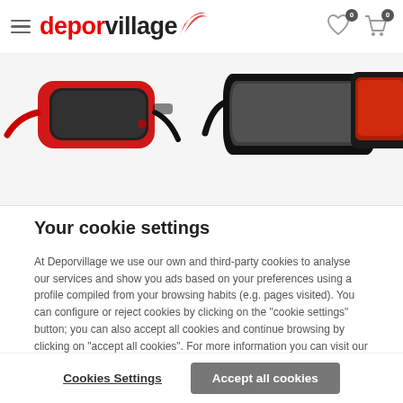deporvillage
[Figure (photo): Three pairs of sports sunglasses on a light grey background: red-framed with dark lenses on the left, black-framed with grey lenses in the center, and black-framed with red mirrored lenses partially visible on the right.]
Your cookie settings
At Deporvillage we use our own and third-party cookies to analyse our services and show you ads based on your preferences using a profile compiled from your browsing habits (e.g. pages visited). You can configure or reject cookies by clicking on the "cookie settings" button; you can also accept all cookies and continue browsing by clicking on "accept all cookies". For more information you can visit our cookies policy. Read more
Cookies Settings
Accept all cookies